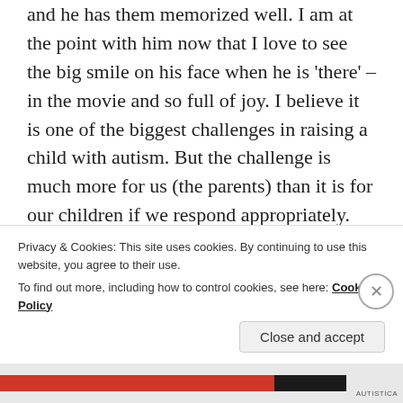and he has them memorized well. I am at the point with him now that I love to see the big smile on his face when he is 'there' – in the movie and so full of joy. I believe it is one of the biggest challenges in raising a child with autism. But the challenge is much more for us (the parents) than it is for our children if we respond appropriately. Who made up all of these rules anyway? I have learned that convention is not always the best way and I take joy from every victory my son achieves because it is an uphill battle for him but God has been faithful to us and I have learned more from him than he ever could from me. Take
Privacy & Cookies: This site uses cookies. By continuing to use this website, you agree to their use.
To find out more, including how to control cookies, see here: Cookie Policy
Close and accept